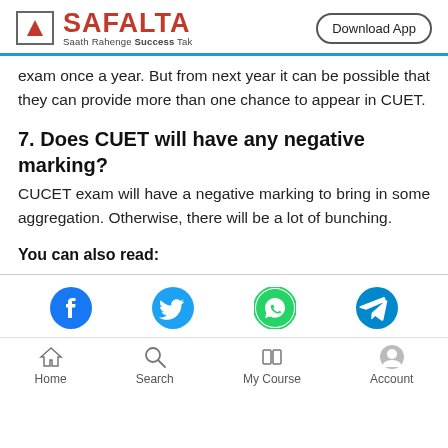SAFALTA - Saath Rahenge Success Tak | Download App
exam once a year. But from next year it can be possible that they can provide more than one chance to appear in CUET.
7. Does CUET will have any negative marking?
CUCET exam will have a negative marking to bring in some aggregation. Otherwise, there will be a lot of bunching.
You can also read:
[Figure (infographic): Social share icons: Facebook, Twitter, WhatsApp, Telegram]
Home | Search | My Course | Account